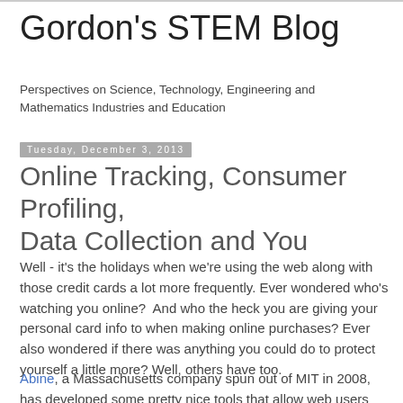Gordon's STEM Blog
Perspectives on Science, Technology, Engineering and Mathematics Industries and Education
Tuesday, December 3, 2013
Online Tracking, Consumer Profiling, Data Collection and You
Well - it's the holidays when we're using the web along with those credit cards a lot more frequently. Ever wondered who's watching you online?  And who the heck you are giving your personal card info to when making online purchases? Ever also wondered if there was anything you could do to protect yourself a little more? Well, others have too.
Abine, a Massachusetts company spun out of MIT in 2008, has developed some pretty nice tools that allow web users